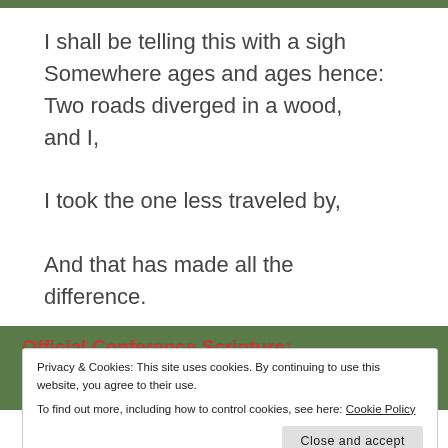I shall be telling this with a sigh Somewhere ages and ages hence: Two roads diverged in a wood, and I, I took the one less traveled by, And that has made all the difference.
Official Conference Scripture:
Privacy & Cookies: This site uses cookies. By continuing to use this website, you agree to their use. To find out more, including how to control cookies, see here: Cookie Policy
him, so that you may overflow